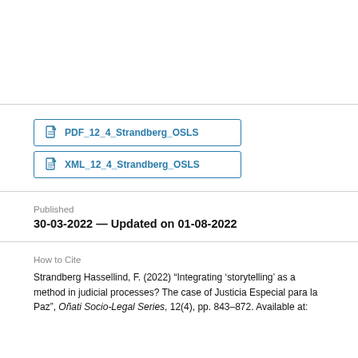PDF_12_4_Strandberg_OSLS
XML_12_4_Strandberg_OSLS
Published
30-03-2022 — Updated on 01-08-2022
How to Cite
Strandberg Hassellind, F. (2022) “Integrating ‘storytelling’ as a method in judicial processes? The case of Justicia Especial para la Paz”, Oñati Socio-Legal Series, 12(4), pp. 843–872. Available at: